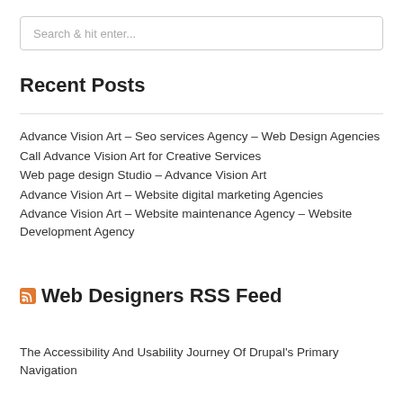Search & hit enter...
Recent Posts
Advance Vision Art – Seo services Agency – Web Design Agencies
Call Advance Vision Art for Creative Services
Web page design Studio – Advance Vision Art
Advance Vision Art – Website digital marketing Agencies
Advance Vision Art – Website maintenance Agency – Website Development Agency
Web Designers RSS Feed
The Accessibility And Usability Journey Of Drupal's Primary Navigation